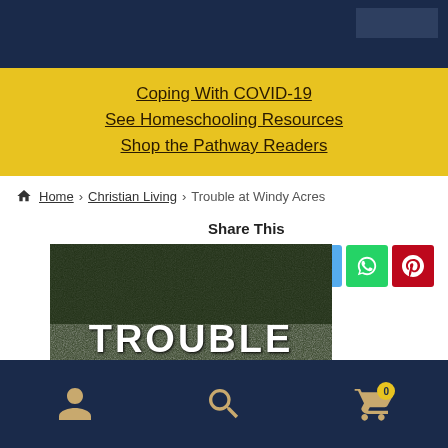Coping With COVID-19
See Homeschooling Resources
Shop the Pathway Readers
Home > Christian Living > Trouble at Windy Acres
Share This
[Figure (illustration): Book cover showing 'TROUBLE at' text over a dark textured background]
Footer navigation with user, search, and cart icons